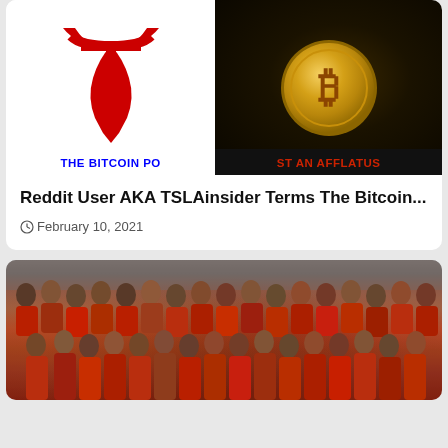[Figure (photo): Tesla logo (red T) on white background on the left, and a gold Bitcoin coin on dark background on the right, with overlaid text 'THE BITCOIN POST AN AFFLATUS']
Reddit User AKA TSLAinsider Terms The Bitcoin...
February 10, 2021
[Figure (photo): Crowd of people wearing masks, many in red clothing, at what appears to be a protest or gathering]